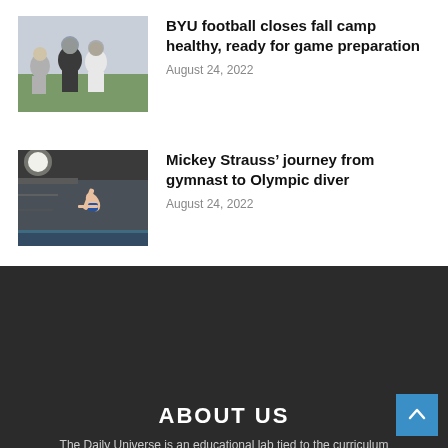[Figure (photo): BYU football players in action during a game]
BYU football closes fall camp healthy, ready for game preparation
August 24, 2022
[Figure (photo): Mickey Strauss diving from a high platform]
Mickey Strauss’ journey from gymnast to Olympic diver
August 24, 2022
ABOUT US
The Daily Universe is an educational lab tied to the curriculum